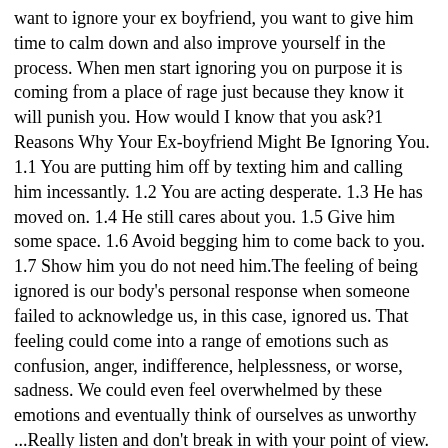want to ignore your ex boyfriend, you want to give him time to calm down and also improve yourself in the process. When men start ignoring you on purpose it is coming from a place of rage just because they know it will punish you. How would I know that you ask?1 Reasons Why Your Ex-boyfriend Might Be Ignoring You. 1.1 You are putting him off by texting him and calling him incessantly. 1.2 You are acting desperate. 1.3 He has moved on. 1.4 He still cares about you. 1.5 Give him some space. 1.6 Avoid begging him to come back to you. 1.7 Show him you do not need him.The feeling of being ignored is our body's personal response when someone failed to acknowledge us, in this case, ignored us. That feeling could come into a range of emotions such as confusion, anger, indifference, helplessness, or worse, sadness. We could even feel overwhelmed by these emotions and eventually think of ourselves as unworthy ...Really listen and don't break in with your point of view. The more you can feel what your friend is feeling, the better chance you'll have of fixing your conflict. Jennifer agreed: The only way to fix what went wrong is by letting your friend say everything that makes them mad. Try to understand why they feel that way.Communicate that you're interested. Make it bold and clear. Do this early on in the crush to make sure your crush knows what's really happening. Express your concerns with your crush ignoring you, and your desire to be with them. Make it clear during the " getting to know you " phase.One of the things that he may start ignoring you for is if he feels that he doesn't have enough space or personal time to himself. This is an absolute must